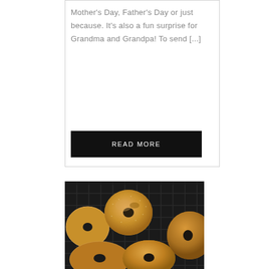Mother's Day, Father's Day or just because. It's also a fun surprise for Grandma and Grandpa! To send [...]
READ MORE
[Figure (photo): Photo of several sugar-coated baked donuts on a dark wire rack, viewed from above, showing golden-brown tops with sugar coating and small holes in center]